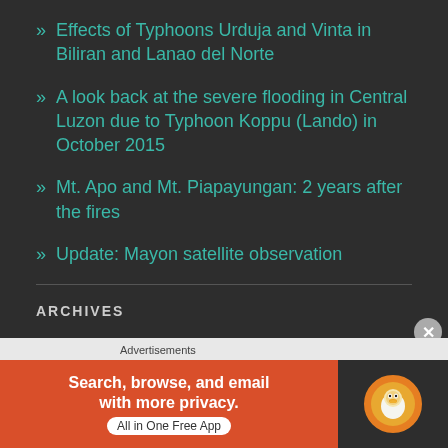Effects of Typhoons Urduja and Vinta in Biliran and Lanao del Norte
A look back at the severe flooding in Central Luzon due to Typhoon Koppu (Lando) in October 2015
Mt. Apo and Mt. Piapayungan: 2 years after the fires
Update: Mayon satellite observation
ARCHIVES
March 2018
February 2018
September 2017
[Figure (screenshot): DuckDuckGo advertisement banner: orange background with text 'Search, browse, and email with more privacy. All in One Free App' and DuckDuckGo logo on dark background]